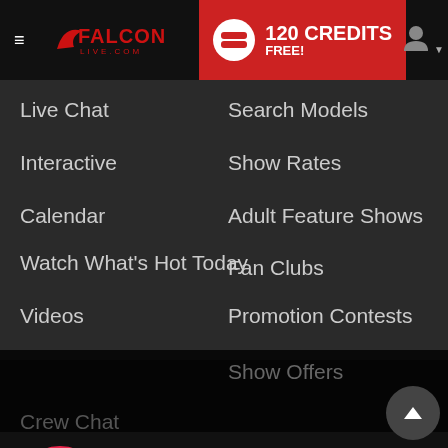[Figure (screenshot): Falconlive.com website navigation menu with hamburger icon, Falcon Live logo, and 120 Credits Free promotional banner in red]
Live Chat
Search Models
Interactive
Show Rates
Calendar
Adult Feature Shows
Watch What's Hot Today
Fan Clubs
Videos
Promotion Contests
Falconlive.com contains adult content
By using the site, you acknowledge you have read our Privacy Policy, and agree to our Terms and Conditions.
We use cookies to optimize your experience, analyze traffic, and deliver more personalized service. To learn more, please see our Privacy Policy.
I AGREE